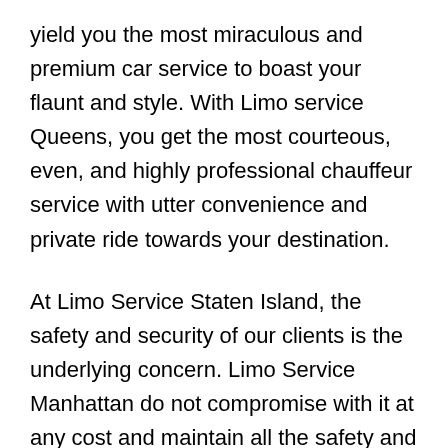yield you the most miraculous and premium car service to boast your flaunt and style. With Limo service Queens, you get the most courteous, even, and highly professional chauffeur service with utter convenience and private ride towards your destination.
At Limo Service Staten Island, the safety and security of our clients is the underlying concern. Limo Service Manhattan do not compromise with it at any cost and maintain all the safety and security concerns as per the state's regulations.
Limo Service NYC heart-throbbing and an elegant range of fleet flatter every attention on the streets of Yardley, PA. So, to proclaim your style and